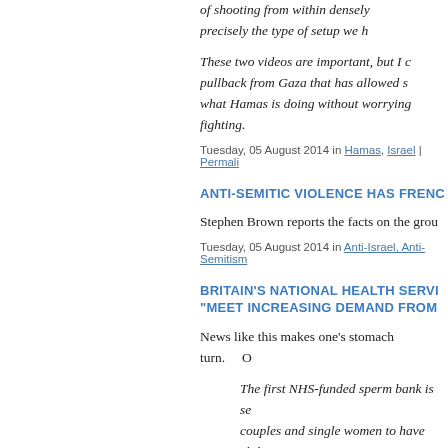of shooting from within densely precisely the type of setup we h
These two videos are important, but I c pullback from Gaza that has allowed s what Hamas is doing without worrying fighting.
Tuesday, 05 August 2014 in Hamas, Israel | Permali
ANTI-SEMITIC VIOLENCE HAS FRENC
Stephen Brown reports the facts on the grou
Tuesday, 05 August 2014 in Anti-Israel, Anti-Semitism
BRITAIN'S NATIONAL HEALTH SERVI "MEET INCREASING DEMAND FROM
News like this makes one's stomach turn.
The first NHS-funded sperm bank is se couples and single women to have chil clinic.
The initiative, which will be funded by search an online database and select